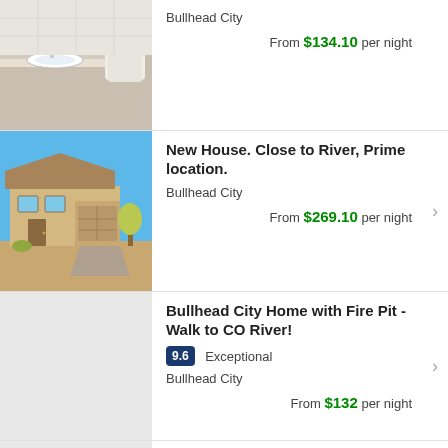Bullhead City
From $134.10 per night
New House. Close to River, Prime location.
Bullhead City
From $269.10 per night
Bullhead City Home with Fire Pit - Walk to CO River!
9.6 Exceptional
Bullhead City
From $132 per night
Ideally Located Bullhead City Townhome with Balcony!